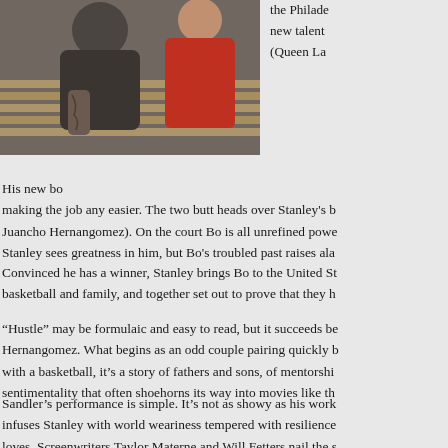[Figure (photo): Two people sitting on bleachers or a bench, one with tattooed arms, another in a red outfit, partial view cropped at top of page]
the Philade new talent (Queen La
His new bo making the job any easier. The two butt heads over Stanley's b Juancho Hernangomez). On the court Bo is all unrefined powe Stanley sees greatness in him, but Bo's troubled past raises ala
Convinced he has a winner, Stanley brings Bo to the United St basketball and family, and together set out to prove that they h
“Hustle” may be formulaic and easy to read, but it succeeds be Hernangomez. What begins as an odd couple pairing quickly b with a basketball, it’s a story of fathers and sons, of mentorshi sentimentality that often shoehorns its way into movies like th
Sandler’s performance is simple. It’s not as showy as his work infuses Stanley with world weariness tempered with resilience loves. Screenwriters Taylor Materne and Will Fetters nail the s depreciating one-liners that help define the character.